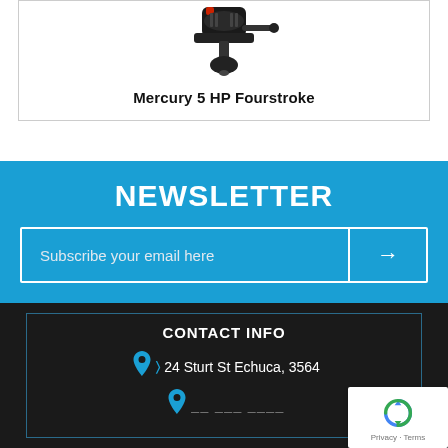[Figure (photo): Mercury 5 HP Fourstroke outboard motor on white background inside a product card]
Mercury 5 HP Fourstroke
NEWSLETTER
Subscribe your email here
CONTACT INFO
24 Sturt St Echuca, 3564